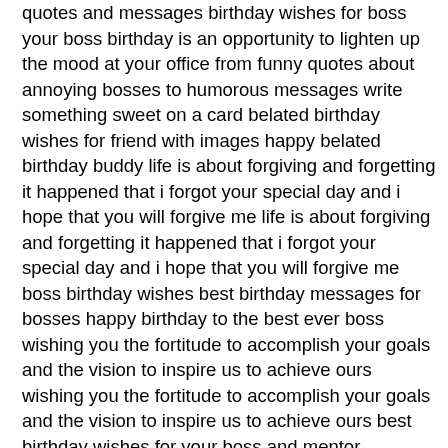quotes and messages birthday wishes for boss your boss birthday is an opportunity to lighten up the mood at your office from funny quotes about annoying bosses to humorous messages write something sweet on a card belated birthday wishes for friend with images happy belated birthday buddy life is about forgiving and forgetting it happened that i forgot your special day and i hope that you will forgive me life is about forgiving and forgetting it happened that i forgot your special day and i hope that you will forgive me boss birthday wishes best birthday messages for bosses happy birthday to the best ever boss wishing you the fortitude to accomplish your goals and the vision to inspire us to achieve ours wishing you the fortitude to accomplish your goals and the vision to inspire us to achieve ours best birthday wishes for your boss and mentor holidappy very special happy birthday messages and greetings for a great boss manager leader mentor and role model find inspirational examples on what to write in a card or letter here birthday wishes for boss manager quotes messages sayings happy birthday to someone that knows what his associates look for the best happy birthday quotes for 2019 shutterfly 50 birthday quotes for your mother father son and daughter when someone near and dear to your heart turns another year older you ll want to do everything you can to make their day extra memorable the 40 birthday wishes for boss wishesgreeting first happy birthday second